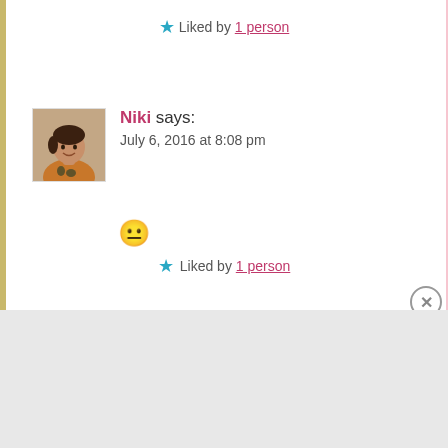★ Liked by 1 person
[Figure (photo): Avatar photo of Niki, a woman in an orange/mustard top, sitting and smiling]
Niki says:
July 6, 2016 at 8:08 pm
😐
★ Liked by 1 person
Advertisements
[Figure (screenshot): DuckDuckGo advertisement banner: 'Search, browse, and email with more privacy. All in One Free App' on orange background with phone mockup and DuckDuckGo logo]